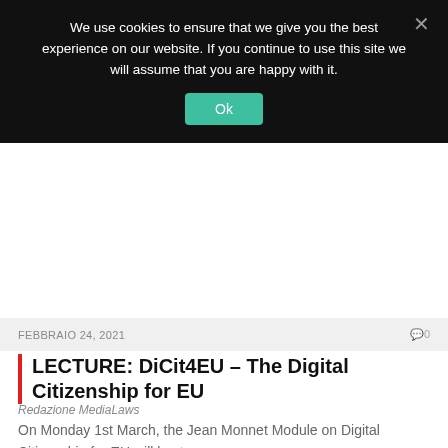We use cookies to ensure that we give you the best experience on our website. If you continue to use this site we will assume that you are happy with it.
Ok
FEBBRAIO 24, 2021
0
LECTURE: DiCit4EU – The Digital Citizenship for EU
Redazione MediaLaws
On Monday 1st March, the Jean Monnet Module on Digital Citizenship for EU will host...